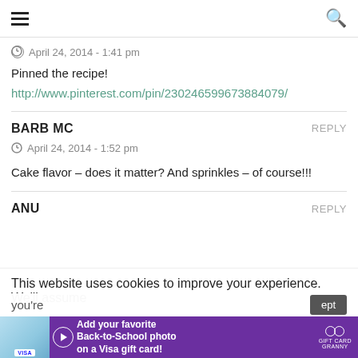hamburger menu | search icon
April 24, 2014 - 1:41 pm
Pinned the recipe!
http://www.pinterest.com/pin/230246599673884079/
BARB MC
April 24, 2014 - 1:52 pm
Cake flavor – does it matter? And sprinkles – of course!!!
ANU
This website uses cookies to improve your experience. We'll assume
[Figure (infographic): Advertisement banner: Add your favorite Back-to-School photo on a Visa gift card! Gift Card Granny]